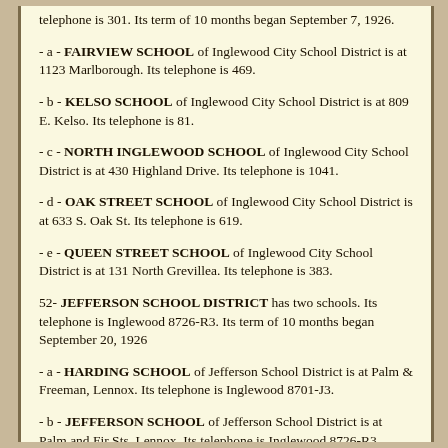telephone is 301. Its term of 10 months began September 7, 1926.
- a - FAIRVIEW SCHOOL of Inglewood City School District is at 1123 Marlborough. Its telephone is 469.
- b - KELSO SCHOOL of Inglewood City School District is at 809 E. Kelso. Its telephone is 81.
- c - NORTH INGLEWOOD SCHOOL of Inglewood City School District is at 430 Highland Drive. Its telephone is 1041.
- d - OAK STREET SCHOOL of Inglewood City School District is at 633 S. Oak St. Its telephone is 619.
- e - QUEEN STREET SCHOOL of Inglewood City School District is at 131 North Grevillea. Its telephone is 383.
52- JEFFERSON SCHOOL DISTRICT has two schools. Its telephone is Inglewood 8726-R3. Its term of 10 months began September 20, 1926
- a - HARDING SCHOOL of Jefferson School District is at Palm & Freeman, Lennox. Its telephone is Inglewood 8701-J3.
- b - JEFFERSON SCHOOL of Jefferson School District is at Palm and Fir Sts. Lennox. Its telephone is Inglewood 8726-R3.
53- KEPPEL UNION SCHOOL DISTRICT has one school. Its term of 9 1/2 months began September 13, 1926. The schoolhouse is at Littlerock.